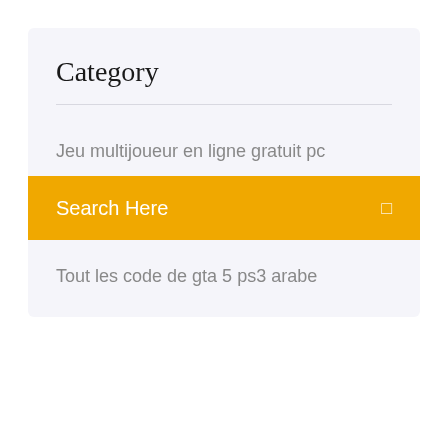Category
Jeu multijoueur en ligne gratuit pc
Search Here
Tout les code de gta 5 ps3 arabe